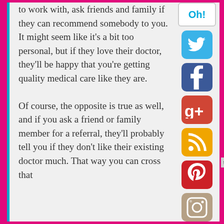to work with, ask friends and family if they can recommend somebody to you. It might seem like it's a bit too personal, but if they love their doctor, they'll be happy that you're getting quality medical care like they are.

Of course, the opposite is true as well, and if you ask a friend or family member for a referral, they'll probably tell you if they don't like their existing doctor much. That way you can cross that
[Figure (infographic): Social media sidebar with icons: Oh! logo, Twitter (blue bird), Facebook (dark blue f), Google+ (red g+), RSS (orange feed icon), Pinterest (red P), Instagram (tan camera icon). A 'top' button label also appears.]